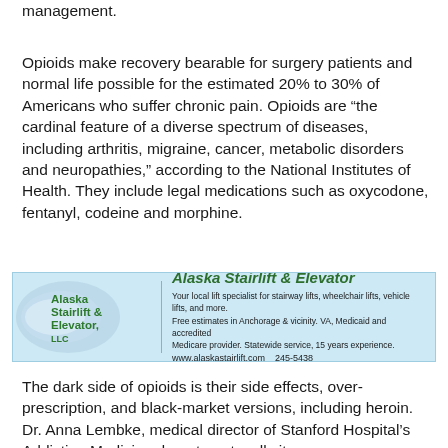management.
Opioids make recovery bearable for surgery patients and normal life possible for the estimated 20% to 30% of Americans who suffer chronic pain. Opioids are “the cardinal feature of a diverse spectrum of diseases, including arthritis, migraine, cancer, metabolic disorders and neuropathies,” according to the National Institutes of Health. They include legal medications such as oxycodone, fentanyl, codeine and morphine.
[Figure (illustration): Advertisement for Alaska Stairlift & Elevator LLC. Contains logo with swoosh graphic and green text, and ad copy: 'Your local lift specialist for stairway lifts, wheelchair lifts, vehicle lifts, and more. Free estimates in Anchorage & vicinity. VA, Medicaid and accredited Medicare provider. Statewide service, 15 years experience. www.alaskastairlift.com 245-5438']
The dark side of opioids is their side effects, over-prescription, and black-market versions, including heroin. Dr. Anna Lembke, medical director of Stanford Hospital’s Addiction Medicine department, calls it one